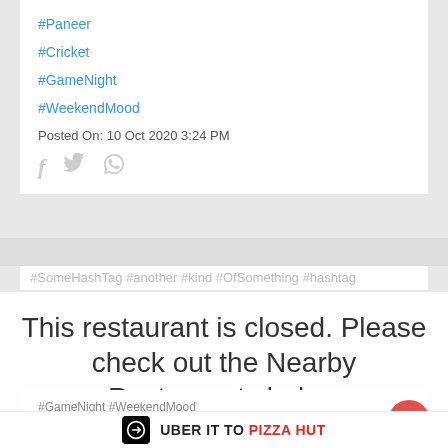#Paneer
#Cricket
#GameNight
#WeekendMood
Posted On: 10 Oct 2020 3:24 PM
[Figure (other): Social share icons: Facebook, Twitter, WhatsApp]
This restaurant is closed. Please check out the Nearby Restaurants below
#GameNight #WeekendMood
#ContestAlert
[Figure (logo): Uber Eats logo box with arrow icon and text: UBER IT TO PIZZA HUT]